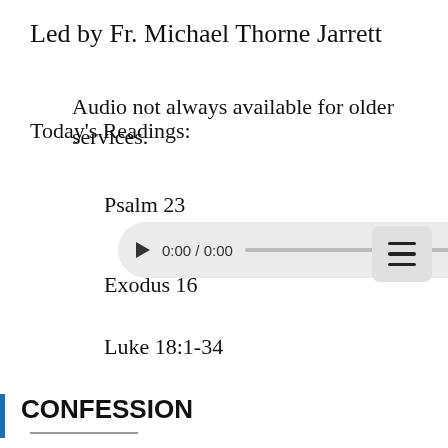Led by Fr. Michael Thorne Jarrett
Audio not always available for older services.
Today's Readings:
Psalm 23
Exodus 16
Luke 18:1-34
[Figure (screenshot): Audio player widget showing 0:00 / 0:00 with play button, progress bar, volume icon, and three-dot menu]
CONFESSION